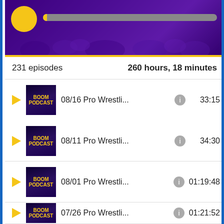[Figure (screenshot): Podcast app banner with purple crowd background, yellow circle avatar, and gray progress bar]
231 episodes	260 hours, 18 minutes
08/16 Pro Wrestli... 33:15
08/11 Pro Wrestli... 34:30
08/01 Pro Wrestli... 01:19:48
07/26 Pro Wrestli... 01:21:52
By Jason Powell
Ring of Honor Final Battle 2017
Aired live on pay-per-view
New York, New York at Hammerstein Ballroom
NEW: You can now support ProWrestling.net